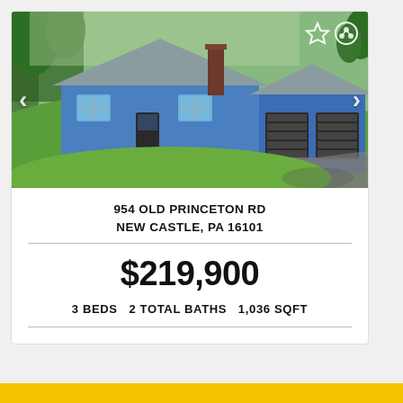[Figure (photo): Exterior photo of a blue ranch-style house with two-car garage, green lawn, and driveway. Navigation arrows on left and right sides, star and share icons in top-right corner.]
954 OLD PRINCETON RD
NEW CASTLE, PA 16101
$219,900
3 BEDS  2 TOTAL BATHS  1,036 SQFT